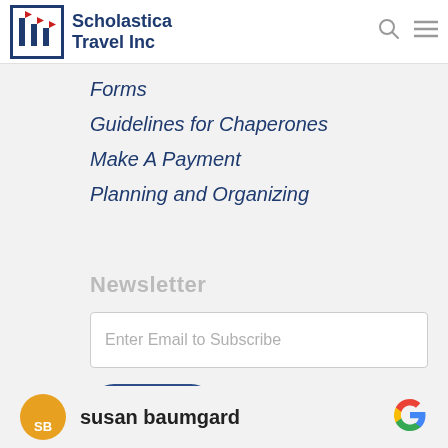[Figure (logo): Scholastica Travel Inc logo with flag icon and company name]
Forms
Guidelines for Chaperones
Make A Payment
Planning and Organizing
Newsletter
Enter Email to Subscribe
Submit
susan baumgard